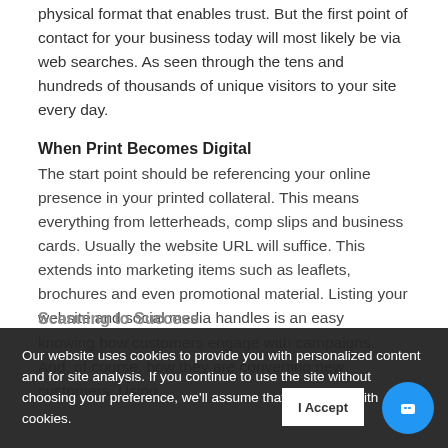Printed material presents your brand in a physical format that enables trust. But the first point of contact for your business today will most likely be via web searches. As seen through the tens and hundreds of thousands of unique visitors to your site every day.
When Print Becomes Digital
The start point should be referencing your online presence in your printed collateral. This means everything from letterheads, comp slips and business cards. Usually the website URL will suffice. This extends into marketing items such as leaflets, brochures and even promotional material. Listing your website and social media handles is an easy way to find out about the company.
Scanning to Success
knowing how customers engage with campaigns. And, of course, how they are converting new customers. Using
Our website uses cookies to provide you with personalized content and for site analysis. If you continue to use the site without choosing your preference, we'll assume that you're fine with cookies.